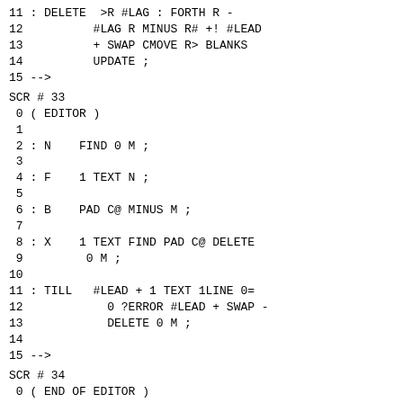11 : DELETE  >R #LAG : FORTH R
 12          #LAG R MINUS R# +! #LEAD
 13          + SWAP CMOVE R> BLANKS
 14          UPDATE ;
 15 -->
SCR # 33
0 ( EDITOR )
 1
 2 : N    FIND 0 M ;
 3
 4 : F    1 TEXT N ;
 5
 6 : B    PAD C@ MINUS M ;
 7
 8 : X    1 TEXT FIND PAD C@ DELETE
 9         0 M ;
10
11 : TILL   #LEAD + 1 TEXT 1LINE 0=
12            0 ?ERROR #LEAD + SWAP -
13            DELETE 0 M ;
14
15 -->
SCR # 34
0 ( END OF EDITOR )
 1
 2 : C    1 TEXT PAD COUNT #LAG ROT
 3          OVER MIN >R FORTH R R# +!
 4          R - >R DUP HERE R CMOVE
 5          HERE #LEAD + R> CMOVE R>